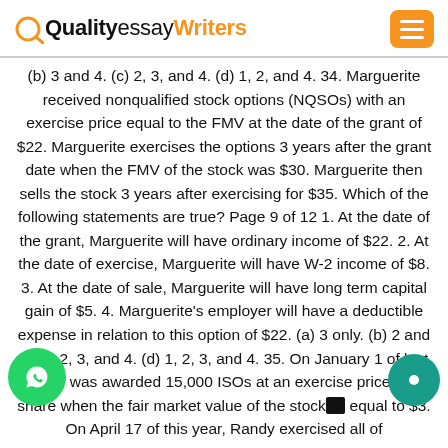QualityessayWriters
(b) 3 and 4. (c) 2, 3, and 4. (d) 1, 2, and 4. 34. Marguerite received nonqualified stock options (NQSOs) with an exercise price equal to the FMV at the date of the grant of $22. Marguerite exercises the options 3 years after the grant date when the FMV of the stock was $30. Marguerite then sells the stock 3 years after exercising for $35. Which of the following statements are true? Page 9 of 12 1. At the date of the grant, Marguerite will have ordinary income of $22. 2. At the date of exercise, Marguerite will have W-2 income of $8. 3. At the date of sale, Marguerite will have long term capital gain of $5. 4. Marguerite's employer will have a deductible expense in relation to this option of $22. (a) 3 only. (b) 2 and 3. (c) 2, 3, and 4. (d) 1, 2, 3, and 4. 35. On January 1 of last [year, R]andy was awarded 15,000 ISOs at an exercise price [of $X p]er share when the fair market value of the stock [was] equal to $3. On April 17 of this year, Randy exercised all of